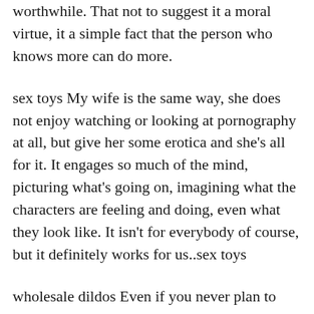worthwhile. That not to suggest it a moral virtue, it a simple fact that the person who knows more can do more.
sex toys My wife is the same way, she does not enjoy watching or looking at pornography at all, but give her some erotica and she's all for it. It engages so much of the mind, picturing what's going on, imagining what the characters are feeling and doing, even what they look like. It isn't for everybody of course, but it definitely works for us..sex toys
wholesale dildos Even if you never plan to pursue medical transition, you should communicate with your doctor's office about your gender and needs, because you deserve to be treated with respect. Additionally, ifyou're thinking about medical transition at some point in the future, it helps to establish your interest early. As with the school, you can submit a letter to the doctor's office